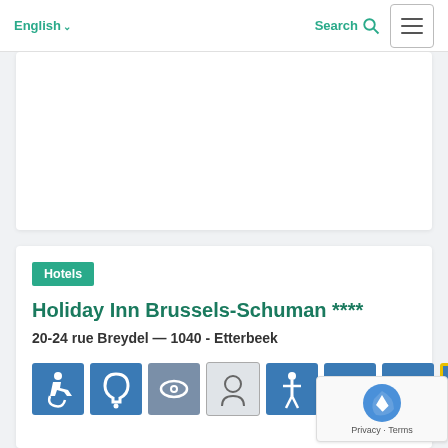English  Search
[Figure (other): White card / image placeholder area at top of page]
Hotels
Holiday Inn Brussels-Schuman ****
20-24 rue Breydel — 1040 - Etterbeek
[Figure (infographic): Row of accessibility and facility icons: wheelchair accessible, hearing loop, vision impaired, face/speech, standing person, accessible parking (Ptc), accessible WC, and a yellow outlined icon]